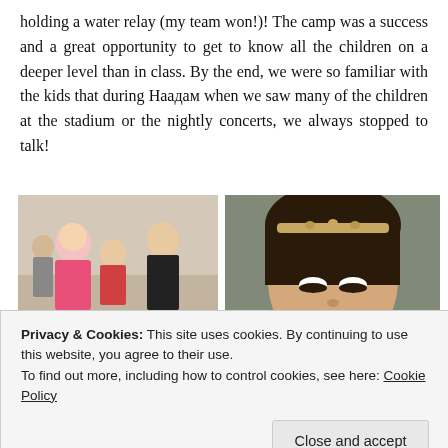holding a water relay (my team won!)! The camp was a success and a great opportunity to get to know all the children on a deeper level than in class. By the end, we were so familiar with the kids that during Наадам when we saw many of the children at the stadium or the nightly concerts, we always stopped to talk!
[Figure (photo): Left photo: group of children and adults in a hallway, some in pink and black shirts, appearing to interact. Right photo: close-up of a young Asian girl with a beaded headband, looking down.]
[Figure (photo): Bottom-left: group of children seated, colorful setting. Bottom-right: partial view of person with pink top.]
Privacy & Cookies: This site uses cookies. By continuing to use this website, you agree to their use.
To find out more, including how to control cookies, see here: Cookie Policy